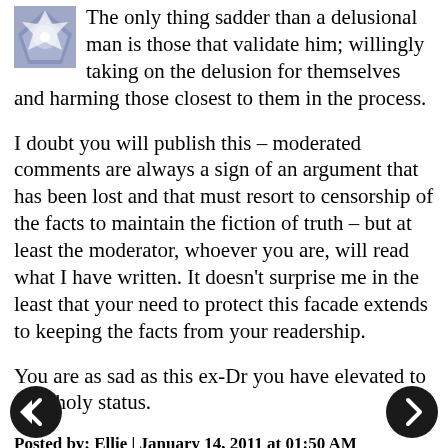The only thing sadder than a delusional man is those that validate him; willingly taking on the delusion for themselves and harming those closest to them in the process.
I doubt you will publish this – moderated comments are always a sign of an argument that has been lost and that must resort to censorship of the facts to maintain the fiction of truth – but at least the moderator, whoever you are, will read what I have written. It doesn't surprise me in the least that your need to protect this facade extends to keeping the facts from your readership.
You are as sad as this ex-Dr you have elevated to near holy status.
Posted by: Ellie | January 14, 2011 at 01:50 AM